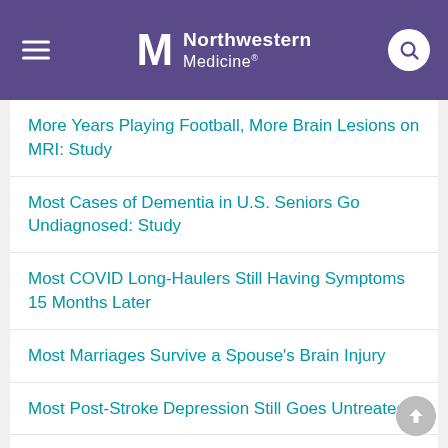Northwestern Medicine
More Years Playing Football, More Brain Lesions on MRI: Study
Most Cases of Dementia in U.S. Seniors Go Undiagnosed: Study
Most COVID Long-Haulers Still Having Symptoms 15 Months Later
Most Marriages Survive a Spouse's Brain Injury
Most Post-Stroke Depression Still Goes Untreated
Most Severe COVID Cases Involve Neuro Issues, and They're More Often Fatal
Mouse Study Offers Hope for Gene Therapy Against Parkinson's Disease